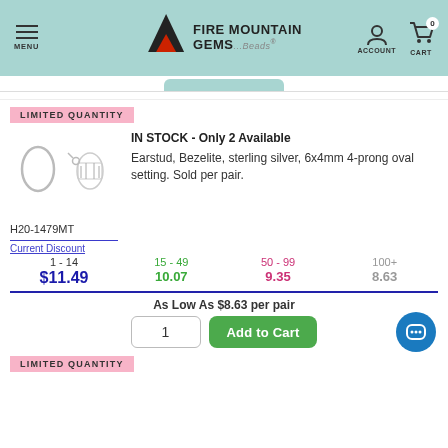[Figure (screenshot): Fire Mountain Gems and Beads website header with navigation menu, logo, account and cart icons on teal background]
LIMITED QUANTITY
IN STOCK - Only 2 Available
Earstud, Bezelite, sterling silver, 6x4mm 4-prong oval setting. Sold per pair.
[Figure (photo): Sterling silver earstud product photos showing oval setting from two angles]
H20-1479MT
| Current Discount | 15 - 49 | 50 - 99 | 100+ |
| --- | --- | --- | --- |
| 1 - 14 |  |  |  |
| $11.49 | 10.07 | 9.35 | 8.63 |
As Low As $8.63 per pair
1
Add to Cart
LIMITED QUANTITY